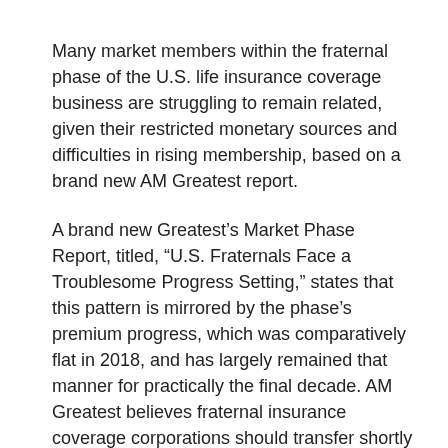Many market members within the fraternal phase of the U.S. life insurance coverage business are struggling to remain related, given their restricted monetary sources and difficulties in rising membership, based on a brand new AM Greatest report.
A brand new Greatest’s Market Phase Report, titled, “U.S. Fraternals Face a Troublesome Progress Setting,” states that this pattern is mirrored by the phase’s premium progress, which was comparatively flat in 2018, and has largely remained that manner for practically the final decade. AM Greatest believes fraternal insurance coverage corporations should transfer shortly on embracing newer applied sciences to the extent that they will or face the chance of falling behind.